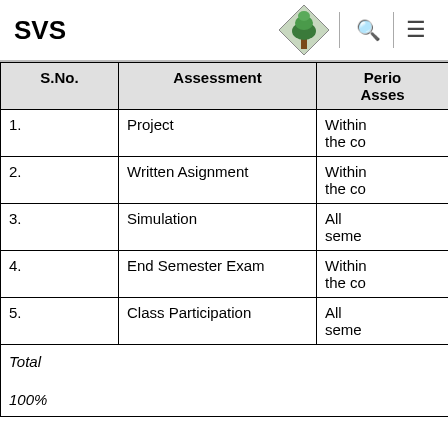SVS
| S.No. | Assessment | Period of Assessment |
| --- | --- | --- |
| 1. | Project | Within the co… |
| 2. | Written Asignment | Within the co… |
| 3. | Simulation | All seme… |
| 4. | End Semester Exam | Within the co… |
| 5. | Class Participation | All seme… |
| Total

100% |  |  |